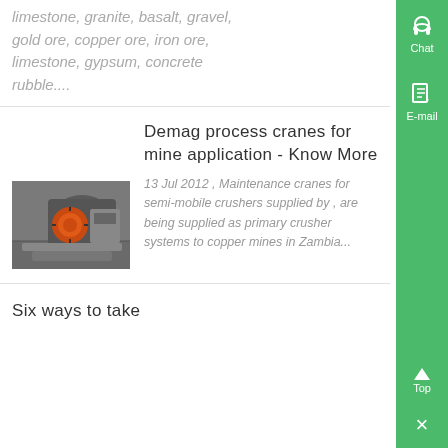limestone, granite, basalt, gravel, gold ore, copper ore, iron ore, limestone, gypsum, concrete rubble....
[Figure (photo): Industrial crane or mining equipment component showing an orange/red mechanical assembly against a grey background]
Demag process cranes for mine application - Know More
13 Jul 2012 , Maintenance cranes for semi-mobile crushers supplied by , are being supplied as primary crusher systems to copper mines in Zambia...
Six ways to take